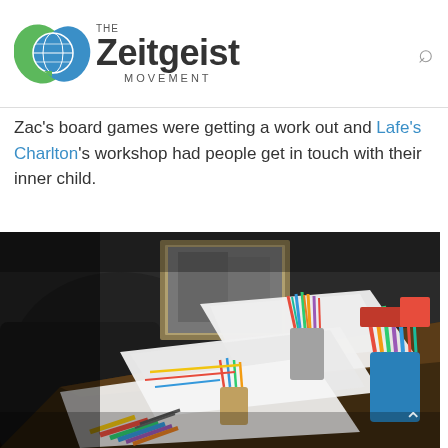THE Zeitgeist MOVEMENT
Zac's board games were getting a work out and Lafe's Charlton's workshop had people get in touch with their inner child.
[Figure (photo): A cluttered desk with white papers, multiple cups holding colored pencils and markers in various colors, a framed picture on the wall in the background, and dark furniture. The scene appears to be from a workshop setting with art supplies spread across the table.]